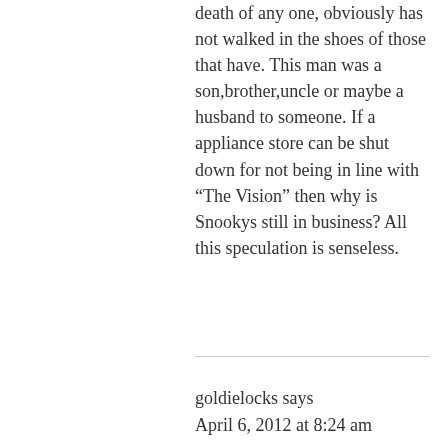death of any one, obviously has not walked in the shoes of those that have. This man was a son,brother,uncle or maybe a husband to someone. If a appliance store can be shut down for not being in line with “The Vision” then why is Snookys still in business? All this speculation is senseless.
goldielocks says
April 6, 2012 at 8:24 am